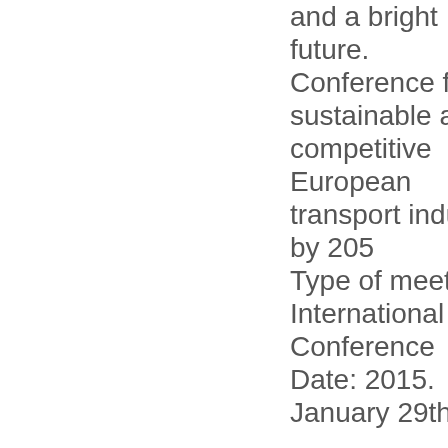and a bright future. Conference for a sustainable and competitive European transport industry by 205 Type of meeting: International Conference Date: 2015. January 29th